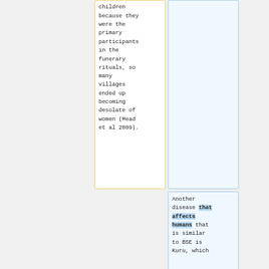children because they were the primary participants in the funerary rituals, so many villages ended up becoming desolate of women (Mead et al 2009).
Another disease that affects humans that is similar to BSE is Kuru, which